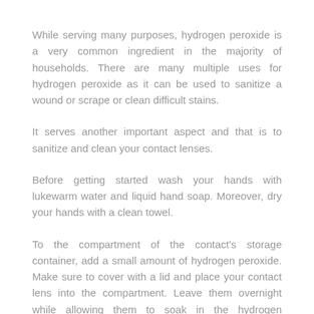While serving many purposes, hydrogen peroxide is a very common ingredient in the majority of households. There are many multiple uses for hydrogen peroxide as it can be used to sanitize a wound or scrape or clean difficult stains.
It serves another important aspect and that is to sanitize and clean your contact lenses.
Before getting started wash your hands with lukewarm water and liquid hand soap. Moreover, dry your hands with a clean towel.
To the compartment of the contact's storage container, add a small amount of hydrogen peroxide. Make sure to cover with a lid and place your contact lens into the compartment. Leave them overnight while allowing them to soak in the hydrogen peroxide.